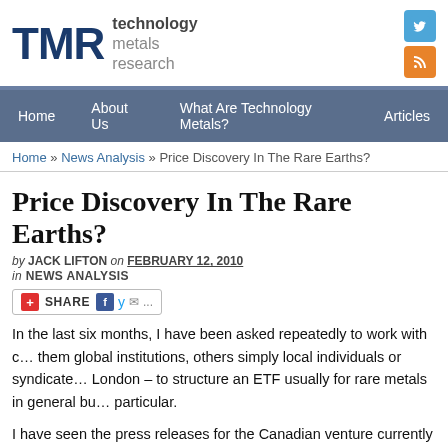TMR technology metals research
Home | About Us | What Are Technology Metals? | Articles
Home » News Analysis » Price Discovery In The Rare Earths?
Price Discovery In The Rare Earths?
by JACK LIFTON on FEBRUARY 12, 2010
in NEWS ANALYSIS
SHARE
In the last six months, I have been asked repeatedly to work with c... them global institutions, others simply local individuals or syndicate... London – to structure an ETF usually for rare metals in general bu... particular.
I have seen the press releases for the Canadian venture currently called Dacha Capital,  and, indeed, it turns out that one of the "ide... spoken to me about it several times during the fall and early winter...